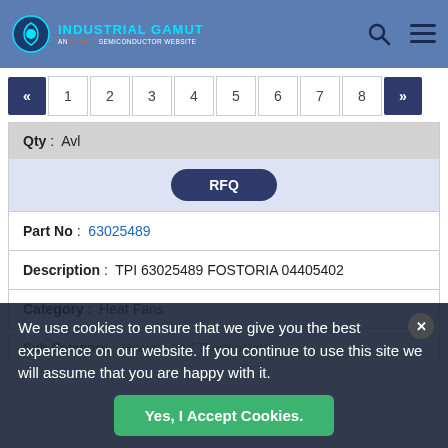INDUSTRIAL GAMUT AN A.S.A.P. SEMICONDUCTOR WEBSITE
« 1 2 3 4 5 6 7 8 »
| Field | Value |
| --- | --- |
| Qty | Avl |
| RFQ |  |
| Part No | 63025489 |
| Description | TPI 63025489 FOSTORIA 04405402 |
| Category | Heat Fans |
| Sub Category | Heaters And Thermostats |
We use cookies to ensure that we give you the best experience on our website. If you continue to use this site we will assume that you are happy with it.
Yes, I Accept Cookies.